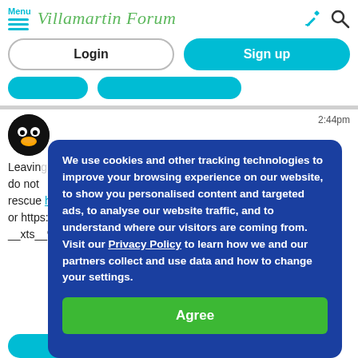Menu Villamartin Forum
Login
Sign up
2:44pm
We use cookies and other tracking technologies to improve your browsing experience on our website, to show you personalised content and targeted ads, to analyse our website traffic, and to understand where our visitors are coming from. Visit our Privacy Policy to learn how we and our partners collect and use data and how to change your settings.
Agree
Leaving us we do not rescue https://darnaanimalrescue.org/ or https://m.facebook.com/santuariodarna/?__xts__%5B2Ffacebook%5D